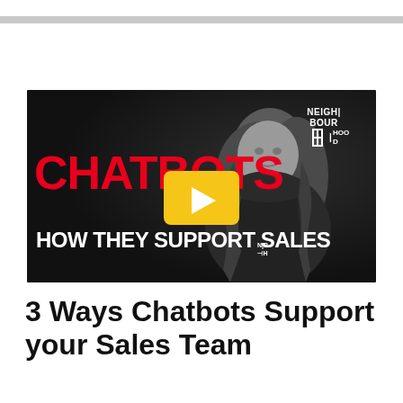[Figure (screenshot): Video thumbnail with dark background featuring a woman with blonde hair. Text reads 'CHATBOTS' in large red letters, 'HOW THEY SUPPORT SALES' in white bold letters at the bottom. A yellow play button is centered. The Neighbourhood logo appears in the top right corner.]
3 Ways Chatbots Support your Sales Team